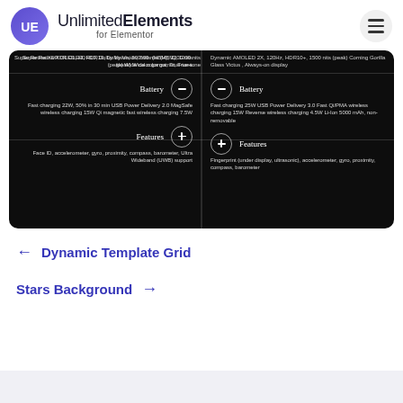[Figure (logo): UnlimitedElements for Elementor logo with circular gradient UE icon and hamburger menu]
[Figure (screenshot): Dark background comparison card showing Battery and Features sections for two phones. Left side: Battery - Fast charging 22W, 50% in 30 min USB Power Delivery 2.0 MagSafe wireless charging 15W Qi magnetic fast wireless charging 7.5W; Features - Face ID, accelerometer, gyro, proximity, compass, barometer, Ultra Wideband (UWB) support. Right side: Battery - Fast charging 25W USB Power Delivery 3.0 Fast Qi/PMA wireless charging 15W Reverse wireless charging 4.5W Li-Ion 5000 mAh, non-removable; Features - Fingerprint (under display, ultrasonic), accelerometer, gyro, proximity, compass, barometer.]
← Dynamic Template Grid
Stars Background →